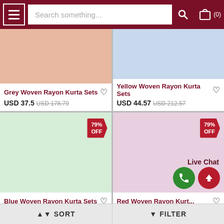[Figure (screenshot): E-commerce website header with hamburger menu, search bar and cart icon]
Grey Woven Rayon Kurta Sets
USD 37.5  USD 178.79
Yellow Woven Rayon Kurta Sets
USD 44.57  USD 212.57
79% OFF
79% OFF
Blue Woven Rayon Kurta Sets
Red Woven Rayon Kurt...
Live Chat
SORT
FILTER